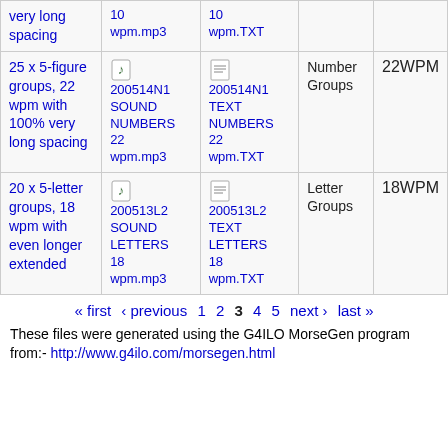| Description | Sound File | Text File | Type | Speed |
| --- | --- | --- | --- | --- |
| very long spacing | 10 wpm.mp3 | 10 wpm.TXT |  |  |
| 25 x 5-figure groups, 22 wpm with 100% very long spacing | 200514N1 SOUND NUMBERS 22 wpm.mp3 | 200514N1 TEXT NUMBERS 22 wpm.TXT | Number Groups | 22WPM |
| 20 x 5-letter groups, 18 wpm with even longer extended | 200513L2 SOUND LETTERS 18 wpm.mp3 | 200513L2 TEXT LETTERS 18 wpm.TXT | Letter Groups | 18WPM |
« first ‹ previous 1 2 3 4 5 next › last »
These files were generated using the G4ILO MorseGen program from:- http://www.g4ilo.com/morsegen.html